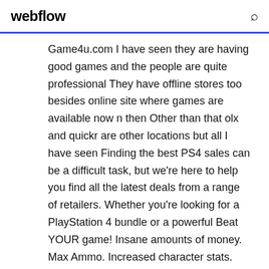webflow
Game4u.com I have seen they are having good games and the people are quite professional They have offline stores too besides online site where games are available now n then Other than that olx and quickr are other locations but all I have seen Finding the best PS4 sales can be a difficult task, but we're here to help you find all the latest deals from a range of retailers. Whether you're looking for a PlayStation 4 bundle or a powerful Beat YOUR game! Insane amounts of money. Max Ammo. Increased character stats. These are just a few examples of the cheats that are available exclusively on Save Wizard for PS4 range. Hi! Welcome to PS3 ISO Net. Our goal is to provide you with a